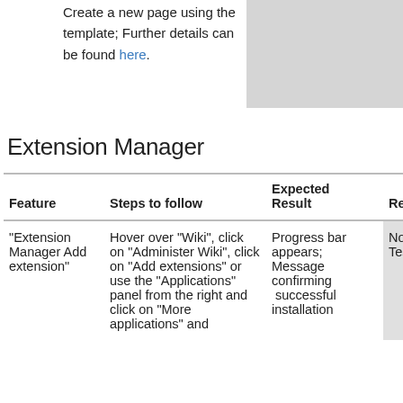Create a new page using the template; Further details can be found here.
Extension Manager
| Feature | Steps to follow | Expected Result | Result | JIR |
| --- | --- | --- | --- | --- |
| "Extension Manager Add extension" | Hover over "Wiki", click on "Administer Wiki", click on "Add extensions" or use the "Applications" panel from the right and click on "More applications" and | Progress bar appears; Message confirming  successful installation | Not Tested | - |